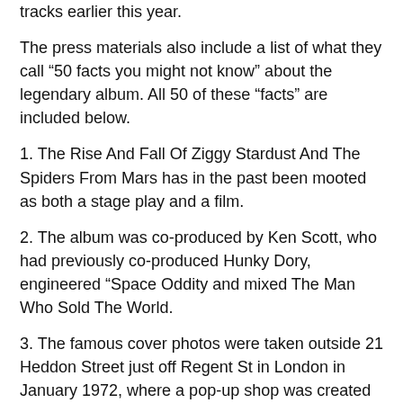tracks earlier this year.
The press materials also include a list of what they call “50 facts you might not know” about the legendary album. All 50 of these “facts” are included below.
1. The Rise And Fall Of Ziggy Stardust And The Spiders From Mars has in the past been mooted as both a stage play and a film.
2. The album was co-produced by Ken Scott, who had previously co-produced Hunky Dory, engineered “Space Oddity and mixed The Man Who Sold The World.
3. The famous cover photos were taken outside 21 Heddon Street just off Regent St in London in January 1972, where a pop-up shop was created this year to celebrate Bowie’s 75th birthday. The location was chosen as the photographer Brian Ward had his studio at 29 Heddon St.